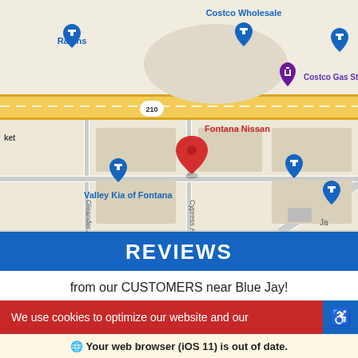[Figure (map): Google Maps screenshot showing area near Fontana Nissan dealership, with landmarks including Ralphs, Costco Wholesale, Costco Gas Station, Valley Kia of Fontana, streets S Highland Ave, Oleander Ave, Cypress Ave, highway 210, and a red map pin marking Fontana Nissan.]
REVIEWS
from our CUSTOMERS near Blue Jay!
We use cookies to optimize our website and our
Your web browser (iOS 11) is out of date. Update your browser for more security, speed and the best experience on this site.